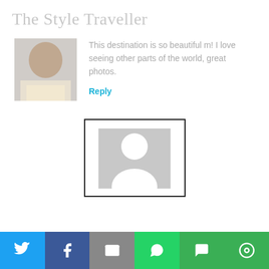The Style Traveller
[Figure (photo): Profile photo of a woman wearing a white cardigan and yellow top with a necklace]
This destination is so beautiful m! I love seeing other parts of the world, great photos.
Reply
[Figure (photo): Placeholder avatar silhouette in a bordered box]
[Figure (infographic): Social share bar with Twitter, Facebook, Email, WhatsApp, SMS, and More buttons]